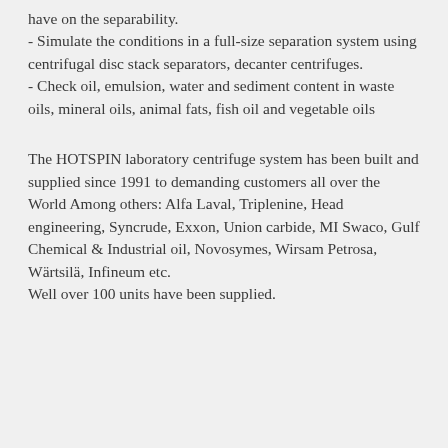have on the separability.
- Simulate the conditions in a full-size separation system using centrifugal disc stack separators, decanter centrifuges.
- Check oil, emulsion, water and sediment content in waste oils, mineral oils, animal fats, fish oil and vegetable oils
The HOTSPIN laboratory centrifuge system has been built and supplied since 1991 to demanding customers all over the World Among others: Alfa Laval, Triplenine, Head engineering, Syncrude, Exxon, Union carbide, MI Swaco, Gulf Chemical & Industrial oil, Novosymes, Wirsam Petrosa, Wärtsilä, Infineum etc.
Well over 100 units have been supplied.